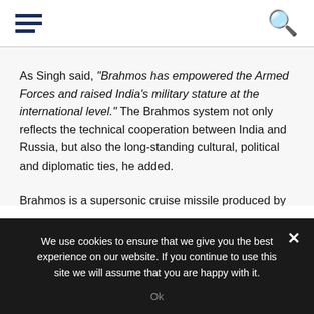[hamburger menu icon] [search icon]
As Singh said, “Brahmos has empowered the Armed Forces and raised India’s military stature at the international level.” The Brahmos system not only reflects the technical cooperation between India and Russia, but also the long-standing cultural, political and diplomatic ties, he added.
Brahmos is a supersonic cruise missile produced by the Russian-Indian joint venture Brahmos.
We use cookies to ensure that we give you the best experience on our website. If you continue to use this site we will assume that you are happy with it.
Ok